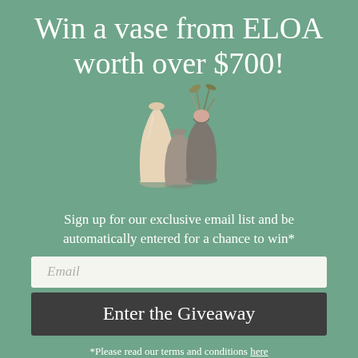Win a vase from ELOA worth over $700!
[Figure (photo): Three decorative vases of varying sizes and colors (cream, brown/grey, and dark grey with plant stems) against a teal background]
Sign up for our exclusive email list and be automatically entered for a chance to win*
Email
Enter the Giveaway
*Please read our terms and conditions here